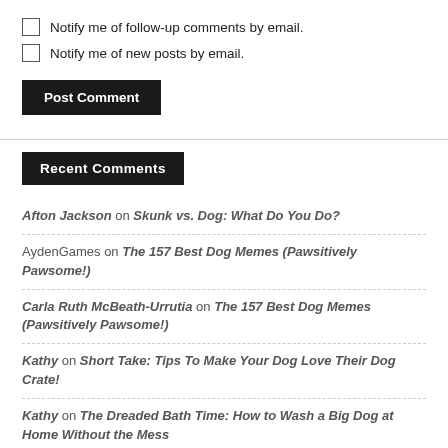Notify me of follow-up comments by email.
Notify me of new posts by email.
Post Comment
Recent Comments
Afton Jackson on Skunk vs. Dog: What Do You Do?
AydenGames on The 157 Best Dog Memes (Pawsitively Pawsome!)
Carla Ruth McBeath-Urrutia on The 157 Best Dog Memes (Pawsitively Pawsome!)
Kathy on Short Take: Tips To Make Your Dog Love Their Dog Crate!
Kathy on The Dreaded Bath Time: How to Wash a Big Dog at Home Without the Mess